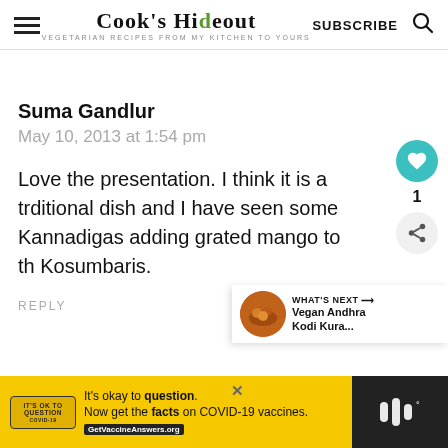Cook's Hideout — VEGETARIAN RECIPES FROM MY KITCHEN TO YOURS — SUBSCRIBE
Suma Gandlur
May 10, 2013 at 1:54 pm
Love the presentation. I think it is a trditional dish and I have seen some Kannadigas adding grated mango to th Kosumbaris.
REPLY
[Figure (infographic): Yellow advertisement bar: 'It's okay to question. Now get the facts on COVID-19 vaccines. GetVaccineAnswers.org']
[Figure (infographic): What's Next panel showing Vegan Andhra Kodi Kura... with a dish photo]